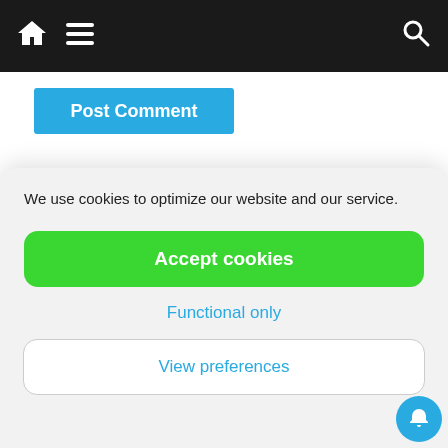Navigation bar with home, menu, and search icons
Post Comment
Friday Update
[Figure (screenshot): Friday 26 August banner with Detecting Finds logo on yellow background]
We use cookies to optimize our website and our service.
Accept cookies
Functional only
View preferences